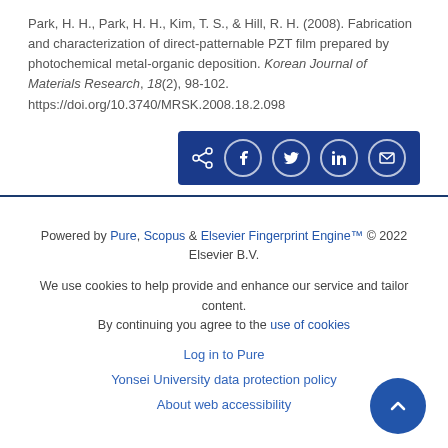Park, H. H., Park, H. H., Kim, T. S., & Hill, R. H. (2008). Fabrication and characterization of direct-patternable PZT film prepared by photochemical metal-organic deposition. Korean Journal of Materials Research, 18(2), 98-102. https://doi.org/10.3740/MRSK.2008.18.2.098
[Figure (infographic): Share buttons bar with dark blue background containing share, Facebook, Twitter, LinkedIn, and email icons]
Powered by Pure, Scopus & Elsevier Fingerprint Engine™ © 2022 Elsevier B.V.
We use cookies to help provide and enhance our service and tailor content. By continuing you agree to the use of cookies
Log in to Pure
Yonsei University data protection policy
About web accessibility